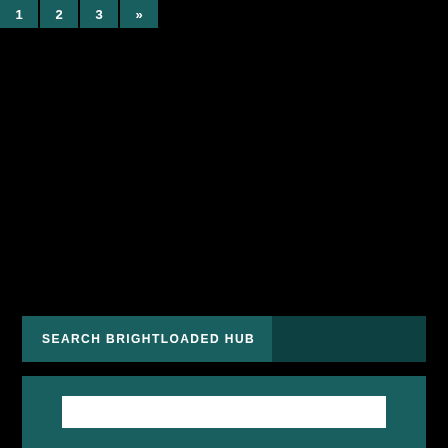1 2 3 »
SEARCH BRIGHTLOADED HUB